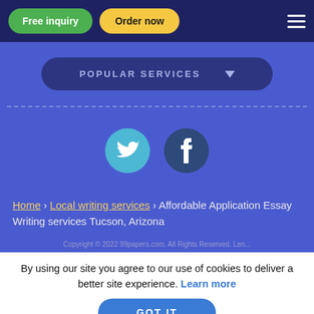Free inquiry | Order now
POPULAR SERVICES
[Figure (illustration): Twitter and Facebook social media icon circles (Twitter in light blue, Facebook in dark navy blue)]
Home › Local writing services › Affordable Application Essay Writing services Tucson, Arizona
Copyright © 2022 99papers.com. All Rights Reserved. Len...
By using our site you agree to our use of cookies to deliver a better site experience. Learn more
GOT IT